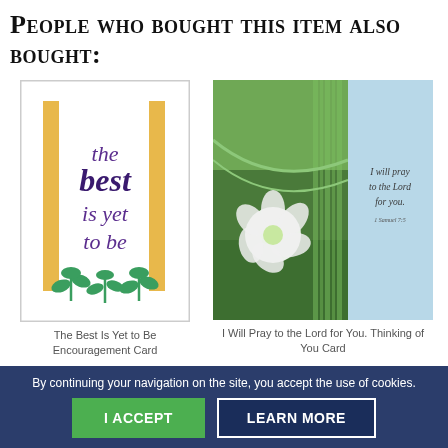People who bought this item also bought:
[Figure (illustration): Greeting card with text 'the best is yet to be' in purple italic script, flanked by gold/yellow vertical bars, with green plant sprigs at bottom on white background]
The Best Is Yet to Be Encouragement Card
[Figure (illustration): Greeting card split into two panels: left panel shows green abstract art with white flower, right panel is light blue with cursive text 'I will pray to the Lord for you' and a scripture reference]
I Will Pray to the Lord for You. Thinking of You Card
By continuing your navigation on the site, you accept the use of cookies.
I ACCEPT
LEARN MORE